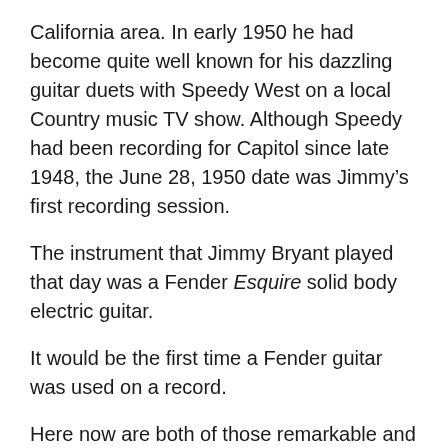California area. In early 1950 he had become quite well known for his dazzling guitar duets with Speedy West on a local Country music TV show. Although Speedy had been recording for Capitol since late 1948, the June 28, 1950 date was Jimmy's first recording session.
The instrument that Jimmy Bryant played that day was a Fender Esquire solid body electric guitar.
It would be the first time a Fender guitar was used on a record.
Here now are both of those remarkable and most enjoyable recordings. Give a listen!
Speedy West's pedal steel is most prominent on “I'll Never Be Free,” but Jimmy adds in some very tasty fills at the 0:19, 0:42, 1:28 and 2:15 marks.